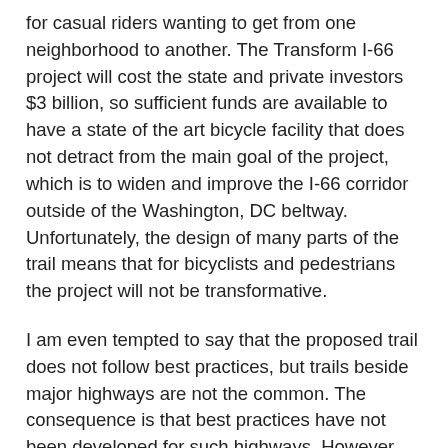for casual riders wanting to get from one neighborhood to another. The Transform I-66 project will cost the state and private investors $3 billion, so sufficient funds are available to have a state of the art bicycle facility that does not detract from the main goal of the project, which is to widen and improve the I-66 corridor outside of the Washington, DC beltway. Unfortunately, the design of many parts of the trail means that for bicyclists and pedestrians the project will not be transformative.
I am even tempted to say that the proposed trail does not follow best practices, but trails beside major highways are not the common. The consequence is that best practices have not been developed for such highways. However, this does not mean that the design of a bicycle trail can ignore all the best practices for general trail and separated bike lane designs in the professional literature and the recent recommendations of government organizations such as the Federal Highway Administration (FHWA 2015). The trail does meet the minimum guidelines for the Commonwealth of Virginia, but in some cases the project seems to have been granted exceptions from even those guidelines. This post